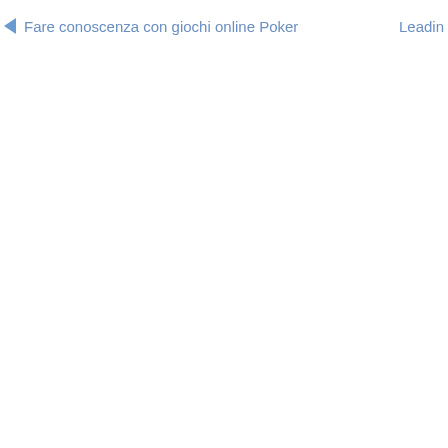◄ Fare conoscenza con giochi online Poker    Leadin